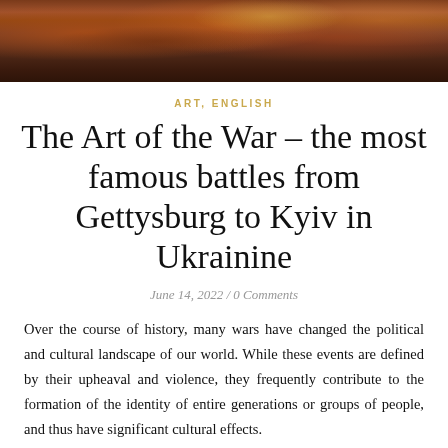[Figure (photo): Cropped portion of a classical battle painting showing figures in dramatic poses with warm earthy tones of red, brown, and orange.]
ART, ENGLISH
The Art of the War – the most famous battles from Gettysburg to Kyiv in Ukrainine
June 14, 2022 / 0 Comments
Over the course of history, many wars have changed the political and cultural landscape of our world. While these events are defined by their upheaval and violence, they frequently contribute to the formation of the identity of entire generations or groups of people, and thus have significant cultural effects.